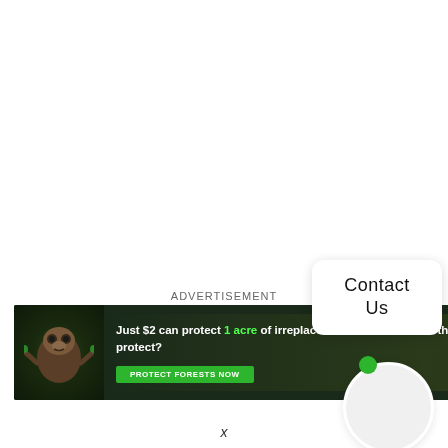ADVERTISEMENT
[Figure (illustration): Advertisement banner for Amazon forest protection charity. Shows a sloth image on dark forest background with text: 'Just $2 can protect 1 acre of irreplaceable forest homes in the Amazon. How many acres are you willing to protect?' and a green 'PROTECT FORESTS NOW' button.]
Contact Us